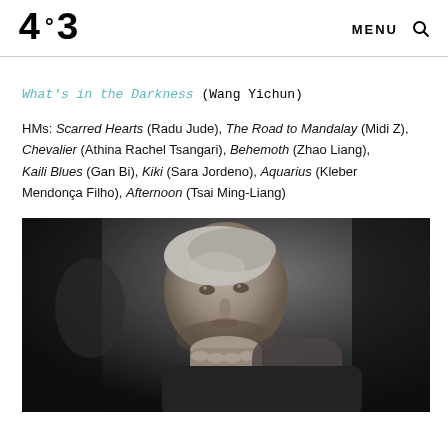4:3 MENU 🔍
What's in the Darkness (Wang Yichun)
HMs: Scarred Hearts (Radu Jude), The Road to Mandalay (Midi Z), Chevalier (Athina Rachel Tsangari), Behemoth (Zhao Liang), Kaili Blues (Gan Bi), Kiki (Sara Jordeno), Aquarius (Kleber Mendonça Filho), Afternoon (Tsai Ming-Liang)
[Figure (photo): Black and white photograph of a man with light hair, resting his chin on his hand, looking upward, with a dark background]